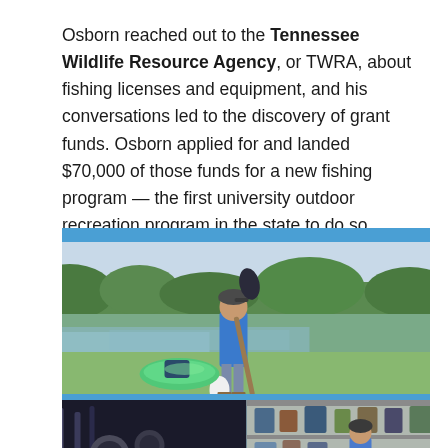Osborn reached out to the Tennessee Wildlife Resource Agency, or TWRA, about fishing licenses and equipment, and his conversations led to the discovery of grant funds. Osborn applied for and landed $70,000 of those funds for a new fishing program — the first university outdoor recreation program in the state to do so.
[Figure (photo): A blue background panel containing two photos. Top photo: a person in a blue shirt standing next to a kayak holding a paddle near a body of water with trees in the background. Bottom photo: a collage showing fishing/outdoor equipment on the left and a person in a storage or gear room on the right.]